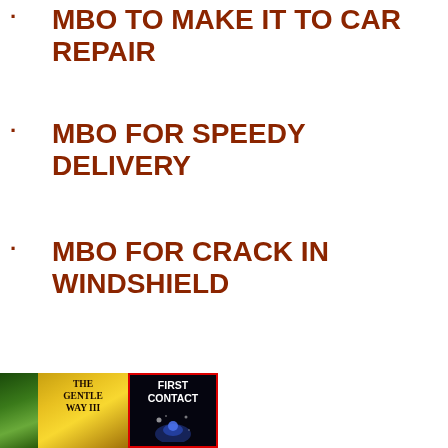MBO TO MAKE IT TO CAR REPAIR
MBO FOR SPEEDY DELIVERY
MBO FOR CRACK IN WINDSHIELD
MBO FOR DELIVERY OF RUNNING SHOES
MBO FOR PEACE WITH BROTHER-IN-LAW
MBO FOR STOPPED UP TOILET
[Figure (photo): Book covers at the bottom: a partial green cover on the left, 'The Gentle Way III' in the middle, and 'First Contact' on the right with a dark space background and red border]